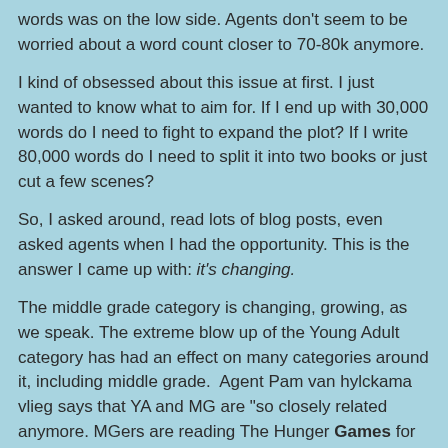words was on the low side. Agents don't seem to be worried about a word count closer to 70-80k anymore.
I kind of obsessed about this issue at first. I just wanted to know what to aim for. If I end up with 30,000 words do I need to fight to expand the plot? If I write 80,000 words do I need to split it into two books or just cut a few scenes?
So, I asked around, read lots of blog posts, even asked agents when I had the opportunity. This is the answer I came up with: it's changing.
The middle grade category is changing, growing, as we speak. The extreme blow up of the Young Adult category has had an effect on many categories around it, including middle grade.  Agent Pam van hylckama vlieg says that YA and MG are "so closely related anymore. MGers are reading The Hunger Games for example".
Upper MG is the next step down from YA, filling in the gaps between the two categories. So it makes sense for word counts to be doing the same.
So what's the answer here?